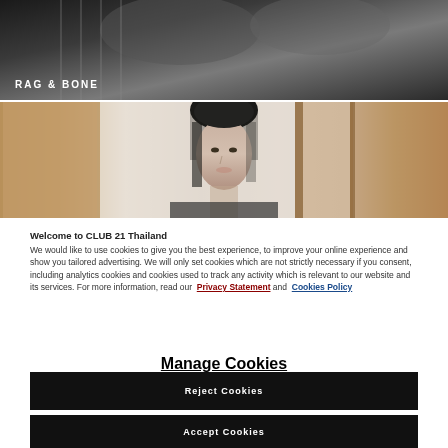[Figure (photo): Black and white photo of two people in striped and plain clothing with 'RAG & BONE' brand text overlay]
[Figure (photo): Color photo of a dark-haired woman against a background with wooden vertical panels]
Welcome to CLUB 21 Thailand
We would like to use cookies to give you the best experience, to improve your online experience and show you tailored advertising. We will only set cookies which are not strictly necessary if you consent, including analytics cookies and cookies used to track any activity which is relevant to our website and its services. For more information, read our Privacy Statement and Cookies Policy
Manage Cookies
Reject Cookies
Accept Cookies